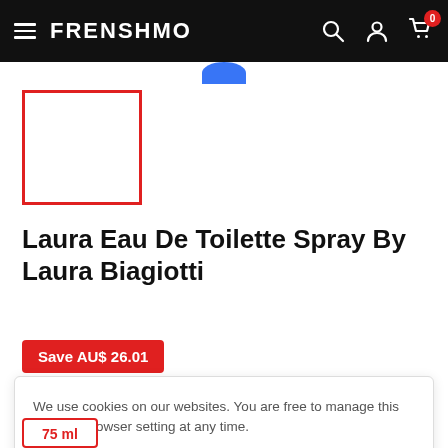FRENSHMO — navigation bar with logo, search, account, and cart icons
[Figure (other): Product thumbnail placeholder box with red border]
Laura Eau De Toilette Spray By Laura Biagiotti
Save AU$ 26.01
We use cookies on our websites. You are free to manage this via your browser setting at any time.
Accept
75 ml